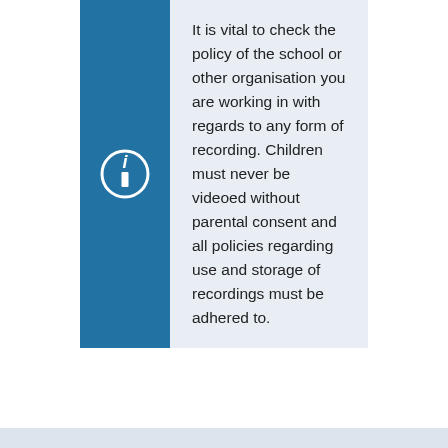It is vital to check the policy of the school or other organisation you are working in with regards to any form of recording. Children must never be videoed without parental consent and all policies regarding use and storage of recordings must be adhered to.
Explore the progression of this Learning Objective
P2 - C1